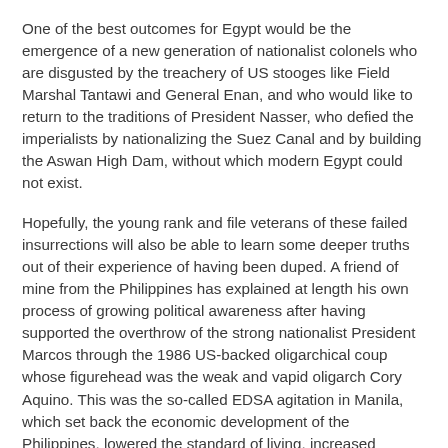One of the best outcomes for Egypt would be the emergence of a new generation of nationalist colonels who are disgusted by the treachery of US stooges like Field Marshal Tantawi and General Enan, and who would like to return to the traditions of President Nasser, who defied the imperialists by nationalizing the Suez Canal and by building the Aswan High Dam, without which modern Egypt could not exist.
Hopefully, the young rank and file veterans of these failed insurrections will also be able to learn some deeper truths out of their experience of having been duped. A friend of mine from the Philippines has explained at length his own process of growing political awareness after having supported the overthrow of the strong nationalist President Marcos through the 1986 US-backed oligarchical coup whose figurehead was the weak and vapid oligarch Cory Aquino. This was the so-called EDSA agitation in Manila, which set back the economic development of the Philippines, lowered the standard of living, increased political instability, and undermined national independence in favor of a gaggle of parasitic compradors. Such experiences are painful and deplorable, but can also contribute to the formation of